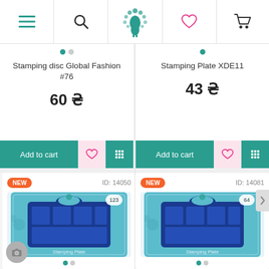[Figure (screenshot): Mobile app top navigation bar with hamburger menu, search icon, peacock logo, heart/wishlist icon, and shopping cart icon]
Stamping disc Global Fashion #76
60 ₴
Add to cart
Stamping Plate XDE11
43 ₴
Add to cart
NEW
ID: 14050
[Figure (photo): Product image of a stamping plate in teal/blue packaging, ID 14050]
NEW
ID: 14081
[Figure (photo): Product image of a stamping plate in teal/blue packaging, ID 14081]